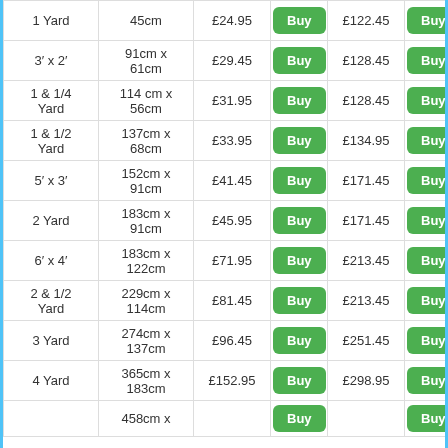| Size | Dimensions | Price |  | Price |  |
| --- | --- | --- | --- | --- | --- |
| 1 Yard | 45cm | £24.95 | Buy | £122.45 | Buy |
| 3' x 2' | 91cm x 61cm | £29.45 | Buy | £128.45 | Buy |
| 1 & 1/4 Yard | 114 cm x 56cm | £31.95 | Buy | £128.45 | Buy |
| 1 & 1/2 Yard | 137cm x 68cm | £33.95 | Buy | £134.95 | Buy |
| 5' x 3' | 152cm x 91cm | £41.45 | Buy | £171.45 | Buy |
| 2 Yard | 183cm x 91cm | £45.95 | Buy | £171.45 | Buy |
| 6' x 4' | 183cm x 122cm | £71.95 | Buy | £213.45 | Buy |
| 2 & 1/2 Yard | 229cm x 114cm | £81.45 | Buy | £213.45 | Buy |
| 3 Yard | 274cm x 137cm | £96.45 | Buy | £251.45 | Buy |
| 4 Yard | 365cm x 183cm | £152.95 | Buy | £298.95 | Buy |
| ... | 458cm x ... | ... | Buy | ... | Buy |